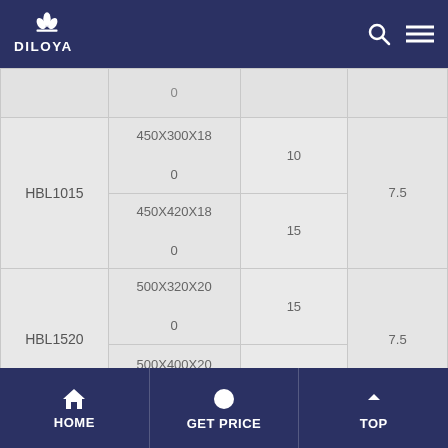DILOYA
| Model | Size | Capacity | Power |
| --- | --- | --- | --- |
|  | 0 |  |  |
| HBL1015 | 450X300X180 | 10 | 7.5 |
| HBL1015 | 450X420X180 | 15 | 7.5 |
| HBL1520 | 500X320X200 | 15 | 7.5 |
| HBL1520 | 500X400X200 |  |  |
HOME | GET PRICE | TOP